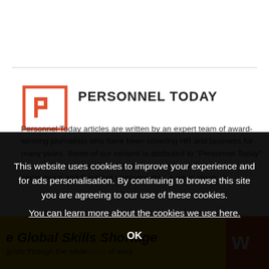[Figure (logo): Personnel Today logo: red/orange square bracket outline with 'P' shape inside]
PERSONNEL TODAY
Personnel Today articles are written by an expert team of award-winning journalists who have been covering HR and business for many years. Some of our content is attributed to "Personnel Today" for a number of reasons, including: where the authors are anonymous and therefore unsourceable; a news piece; or where content is decided by our team.
This website uses cookies to improve your experience and for ads personalisation. By continuing to browse this site you are agreeing to our use of these cookies. You can learn more about the cookies we use here.
OK
e Global Skills Shortage
guide through the wilderness of work